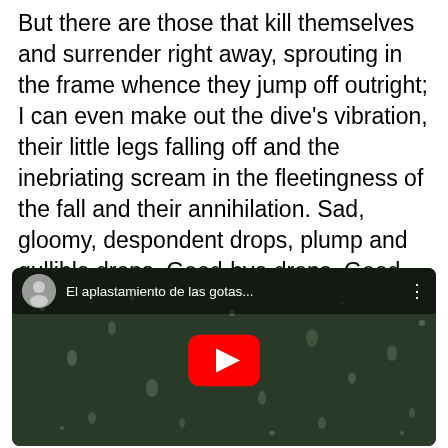But there are those that kill themselves and surrender right away, sprouting in the frame whence they jump off outright; I can even make out the dive's vibration, their little legs falling off and the inebriating scream in the fleetingness of the fall and their annihilation. Sad, gloomy, despondent drops, plump and gullible drops. Good-bye drops. Good-bye.
[Figure (screenshot): Embedded YouTube video thumbnail showing water droplets on a green surface (glass), with a man's avatar thumbnail in the top-left corner, the title 'El aplastamiento de las gotas...' in white text, a three-dot menu icon, and a large red YouTube play button in the center.]